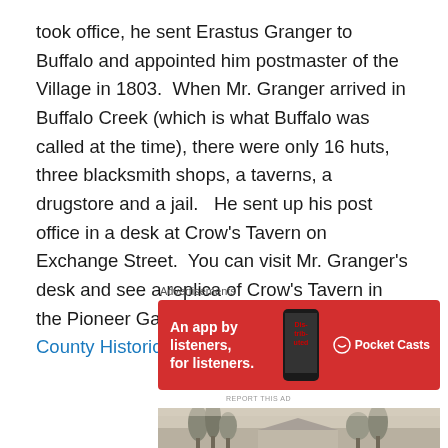took office, he sent Erastus Granger to Buffalo and appointed him postmaster of the Village in 1803. When Mr. Granger arrived in Buffalo Creek (which is what Buffalo was called at the time), there were only 16 huts, three blacksmith shops, a taverns, a drugstore and a jail. He sent up his post office in a desk at Crow's Tavern on Exchange Street. You can visit Mr. Granger's desk and see a replica of Crow's Tavern in the Pioneer Gallery at the Buffalo and Erie County Historical Society!
[Figure (infographic): Pocket Casts advertisement banner on red background: 'An app by listeners, for listeners.' with podcast app logo and phone graphic]
[Figure (photo): Black and white historical sketch/illustration showing trees and a building structure, partial view]